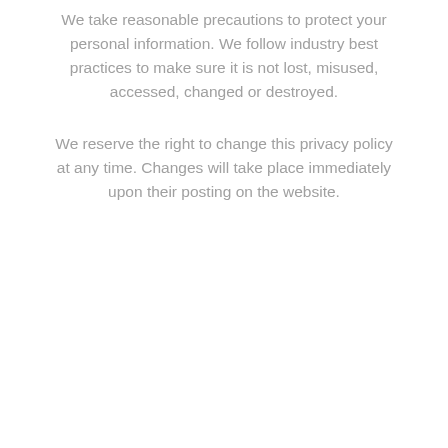We take reasonable precautions to protect your personal information. We follow industry best practices to make sure it is not lost, misused, accessed, changed or destroyed.
We reserve the right to change this privacy policy at any time. Changes will take place immediately upon their posting on the website.